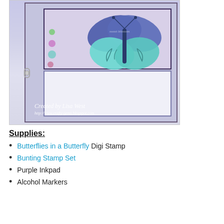[Figure (photo): A handmade greeting card featuring a large decorative butterfly (blue upper wings, aqua lower wings with swirl patterns) on a purple/lavender patterned background with small flowers and bunting banner. The card has a white notepad panel at the bottom with a metal clip on the left side. Watermark reads 'Created by Lisa West' with a website URL.]
Supplies:
Butterflies in a Butterfly Digi Stamp
Bunting Stamp Set
Purple Inkpad
Alcohol Markers